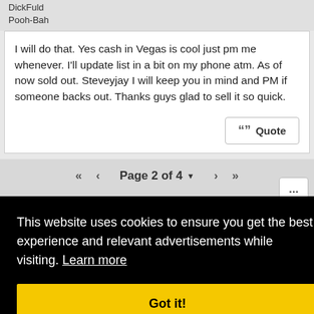DickFuld
Pooh-Bah
I will do that. Yes cash in Vegas is cool just pm me whenever. I'll update list in a bit on my phone atm. As of now sold out. Steveyjay I will keep you in mind and PM if someone backs out. Thanks guys glad to sell it so quick.
Page 2 of 4
This website uses cookies to ensure you get the best experience and relevant advertisements while visiting. Learn more
Got it!